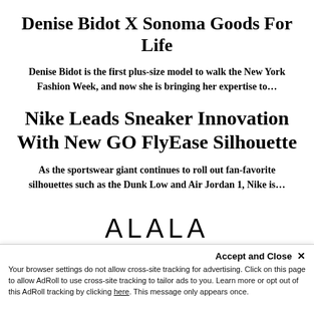Denise Bidot X Sonoma Goods For Life
Denise Bidot is the first plus-size model to walk the New York Fashion Week, and now she is bringing her expertise to…
Nike Leads Sneaker Innovation With New GO FlyEase Silhouette
As the sportswear giant continues to roll out fan-favorite silhouettes such as the Dunk Low and Air Jordan 1, Nike is…
[Figure (logo): ALALA brand logo text in large spaced letters]
Accept and Close ✕
Your browser settings do not allow cross-site tracking for advertising. Click on this page to allow AdRoll to use cross-site tracking to tailor ads to you. Learn more or opt out of this AdRoll tracking by clicking here. This message only appears once.